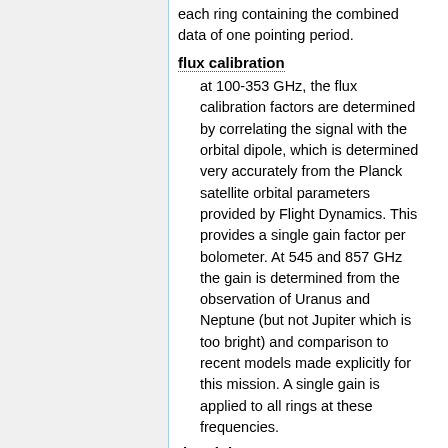each ring containing the combined data of one pointing period.
flux calibration
at 100-353 GHz, the flux calibration factors are determined by correlating the signal with the orbital dipole, which is determined very accurately from the Planck satellite orbital parameters provided by Flight Dynamics. This provides a single gain factor per bolometer. At 545 and 857 GHz the gain is determined from the observation of Uranus and Neptune (but not Jupiter which is too bright) and comparison to recent models made explicitly for this mission. A single gain is applied to all rings at these frequencies.
destriping
in order to remove low-frequency